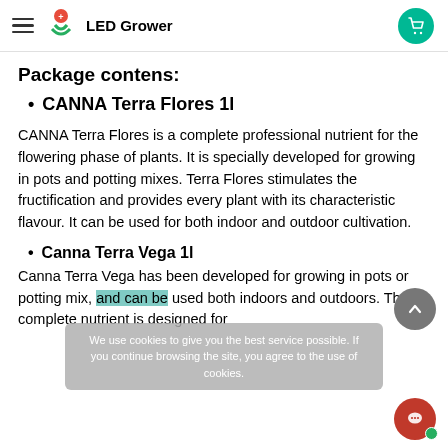LED Grower
Package contens:
CANNA Terra Flores 1l
CANNA Terra Flores is a complete professional nutrient for the flowering phase of plants. It is specially developed for growing in pots and potting mixes. Terra Flores stimulates the fructification and provides every plant with its characteristic flavour. It can be used for both indoor and outdoor cultivation.
Canna Terra Vega 1l
Canna Terra Vega has been developed for growing in pots or potting mix, and can be used both indoors and outdoors. The complete nutrient is designed for
We use cookies to give you the best service possible. If you continue browsing the site, you agree to the use of cookies.